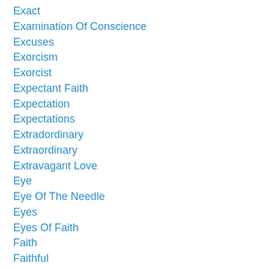Exact
Examination Of Conscience
Excuses
Exorcism
Exorcist
Expectant Faith
Expectation
Expectations
Extradordinary
Extraordinary
Extravagant Love
Eye
Eye Of The Needle
Eyes
Eyes Of Faith
Faith
Faithful
Faithfulness
Faithless
False Expectation
False Prophets